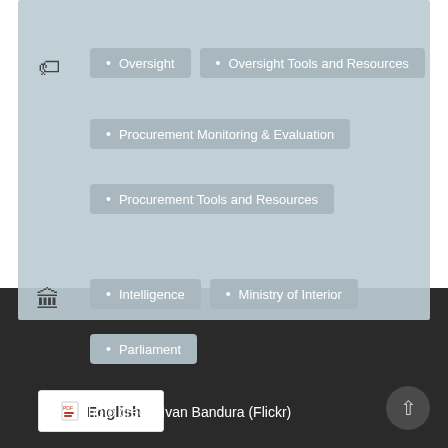Oversight
Oversight Tools and Resources
Procurement Monitoring & Evaluation
Procurement Tools and Resources
Intelligence
Ministry of Interior
Parliament
English
Photo credit: Ivan Bandura (Flickr)